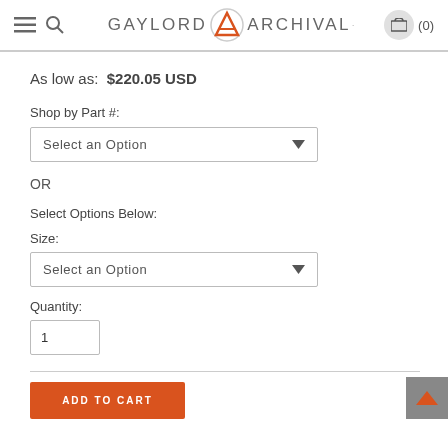GAYLORD ARCHIVAL (0)
As low as:  $220.05 USD
Shop by Part #:
Select an Option
OR
Select Options Below:
Size:
Select an Option
Quantity:
1
ADD TO CART